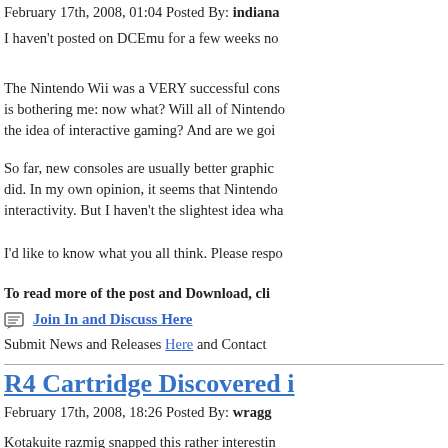February 17th, 2008, 01:04 Posted By: indiana
I haven't posted on DCEmu for a few weeks no
The Nintendo Wii was a VERY successful cons is bothering me: now what? Will all of Nintendo the idea of interactive gaming? And are we goi
So far, new consoles are usually better graphic did. In my own opinion, it seems that Nintendo interactivity. But I haven't the slightest idea wha
I'd like to know what you all think. Please respo
To read more of the post and Download, cli
Join In and Discuss Here
Submit News and Releases Here and Contact
R4 Cartridge Discovered i
February 17th, 2008, 18:26 Posted By: wragg
Kotakuite razmig snapped this rather interestin there in the case, nestled among the other ga play DS games illegally through the use of a M thing and Nintendo's recent crackdown on pira